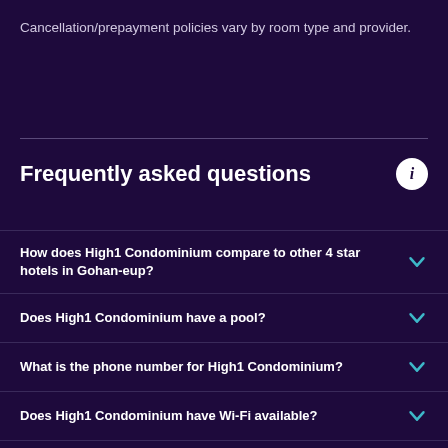Cancellation/prepayment policies vary by room type and provider.
Frequently asked questions
How does High1 Condominium compare to other 4 star hotels in Gohan-eup?
Does High1 Condominium have a pool?
What is the phone number for High1 Condominium?
Does High1 Condominium have Wi-Fi available?
What time is check-out for High1 Condominium?